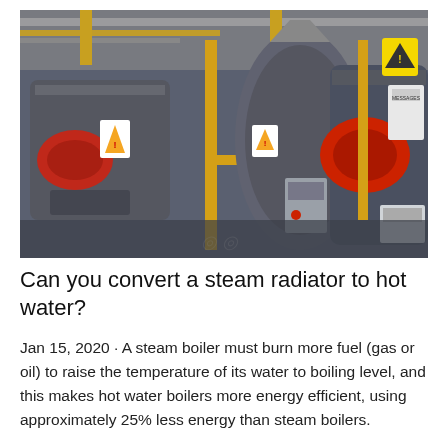[Figure (photo): Industrial boiler room with multiple large steam boilers featuring red burner heads, yellow gas pipes, warning signs, and grey metal casings on a dark floor.]
Can you convert a steam radiator to hot water?
Jan 15, 2020 · A steam boiler must burn more fuel (gas or oil) to raise the temperature of its water to boiling level, and this makes hot water boilers more energy efficient, using approximately 25% less energy than steam boilers.